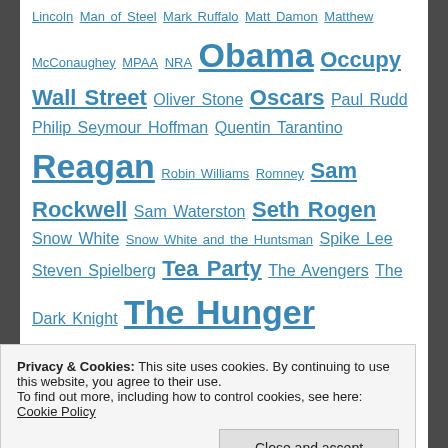Lincoln Man of Steel Mark Ruffalo Matt Damon Matthew McConaughey MPAA NRA Obama Occupy Wall Street Oliver Stone Oscars Paul Rudd Philip Seymour Hoffman Quentin Tarantino Reagan Robin Williams Romney Sam Rockwell Sam Waterston Seth Rogen Snow White Snow White and the Huntsman Spike Lee Steven Spielberg Tea Party The Avengers The Dark Knight The Hunger Games The Lone Ranger The Newsroom The West Wing Tom Cruise Tom Hanks Tommy Lee Jones Veep War on Terror White House Down Will Ferrell Will Smith Woody Harrelson Zero Dark Thirty
Privacy & Cookies: This site uses cookies. By continuing to use this website, you agree to their use. To find out more, including how to control cookies, see here: Cookie Policy